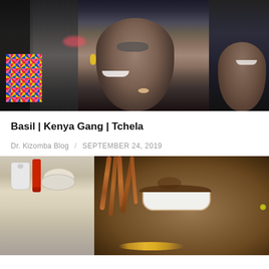[Figure (photo): Group of young African women smiling and laughing together, wearing colorful African print clothing and accessories, outdoors]
Basil | Kenya Gang | Tchela
Dr. Kizomba Blog  /  SEPTEMBER 24, 2019
[Figure (photo): Close-up of a young Black man with orange/red dreadlocks, grinning widely showing bright teeth, wearing a gold necklace, with kitchen appliances visible in the background]